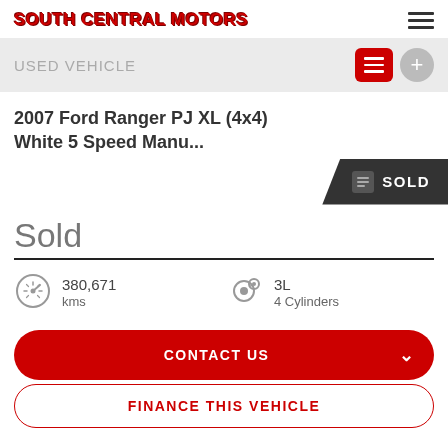SOUTH CENTRAL MOTORS
USED VEHICLE
2007 Ford Ranger PJ XL (4x4) White 5 Speed Manu...
SOLD
Sold
380,671 kms
3L 4 Cylinders
CONTACT US
FINANCE THIS VEHICLE